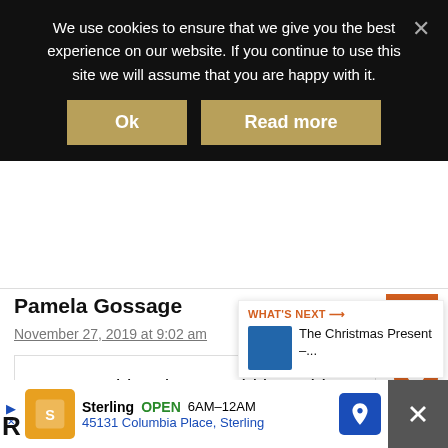We use cookies to ensure that we give you the best experience on our website. If you continue to use this site we will assume that you are happy with it.
Ok
Read more
Pamela Gossage
November 27, 2019 at 9:02 am
My granddaughter would love this
Reply
WHAT'S NEXT → The Christmas Present –...
Sterling OPEN | 6AM–12AM
45131 Columbia Place, Sterling